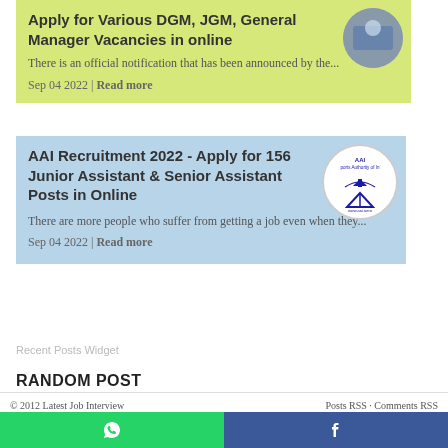Apply for Various DGM, JGM, General Manager Vacancies in online
There is an official notification that has been announced by the...
Sep 04 2022 | Read more
AAI Recruitment 2022 - Apply for 156 Junior Assistant & Senior Assistant Posts in Online
There are more people who suffer from getting a job even when they...
Sep 04 2022 | Read more
Recent Posts Widget
RANDOM POST
© 2012 Latest Job Interview    Posts RSS · Comments RSS
Blogger Template By : MKR | IVYthemes.com